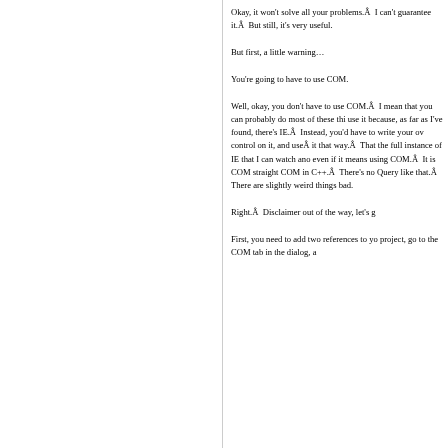Okay, it won't solve all your problems.Â  I can't guarantee it.Â  But still, it's very useful.
But first, a little warning…
You're going to have to use COM.
Well, okay, you don't have to use COM.Â  I mean that you can probably do most of these things without use it because, as far as I've found, there's no way in IE.Â  Instead, you'd have to write your own ActiveX control on it, and useÂ it that way.Â  That's why I prefer the full instance of IE that I can watch and interact with, even if it means using COM.Â  It is COM, though — straight COM in C++.Â  There's no QueryInterface or like that.Â  There are slightly weird things, but it's not bad.
Right.Â  Disclaimer out of the way, let's g
First, you need to add two references to y project, go to the COM tab in the dialog, a